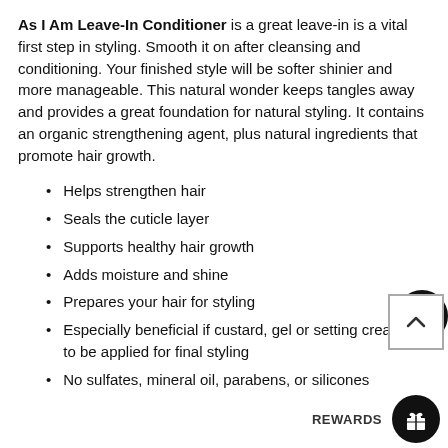As I Am Leave-In Conditioner is a great leave-in is a vital first step in styling. Smooth it on after cleansing and conditioning. Your finished style will be softer shinier and more manageable. This natural wonder keeps tangles away and provides a great foundation for natural styling. It contains an organic strengthening agent, plus natural ingredients that promote hair growth.
Helps strengthen hair
Seals the cuticle layer
Supports healthy hair growth
Adds moisture and shine
Prepares your hair for styling
Especially beneficial if custard, gel or setting cream is to be applied for final styling
No sulfates, mineral oil, parabens, or silicones
Directions: Apply liberally to clean, wet dr well throughout entire head hair, from root to maintain tangle free alignment. Proceed to style. Coils and coils will